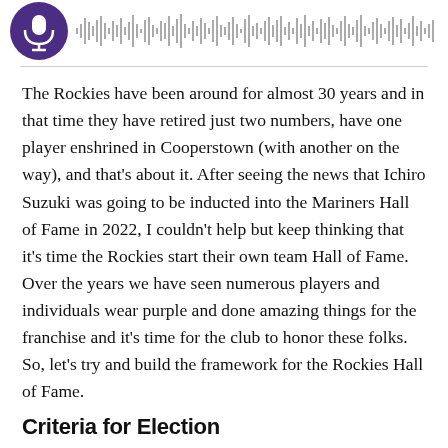[Figure (other): Podcast player header with purple circular icon and audio waveform/progress bar]
The Rockies have been around for almost 30 years and in that time they have retired just two numbers, have one player enshrined in Cooperstown (with another on the way), and that's about it. After seeing the news that Ichiro Suzuki was going to be inducted into the Mariners Hall of Fame in 2022, I couldn't help but keep thinking that it's time the Rockies start their own team Hall of Fame. Over the years we have seen numerous players and individuals wear purple and done amazing things for the franchise and it's time for the club to honor these folks. So, let's try and build the framework for the Rockies Hall of Fame.
Criteria for Election